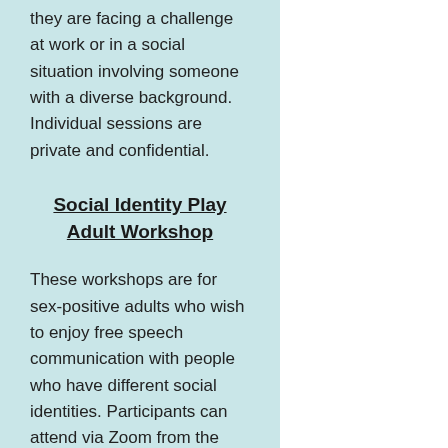they are facing a challenge at work or in a social situation involving someone with a diverse background. Individual sessions are private and confidential.
Social Identity Play Adult Workshop
These workshops are for sex-positive adults who wish to enjoy free speech communication with people who have different social identities. Participants can attend via Zoom from the comfort of their homes no matter where they live in the world.
Purchase Tickets